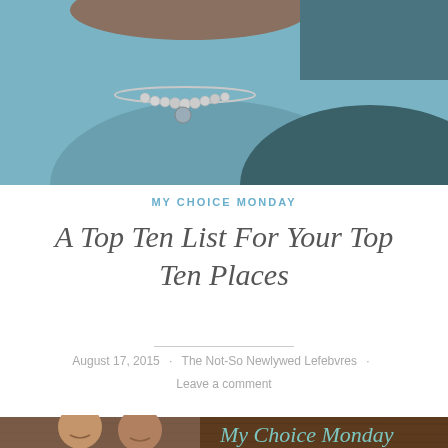[Figure (photo): Top portion of a photo showing a person wearing a teal/blue top with a pearl necklace and another person in a dark shirt, cropped at shoulder level]
MY CHOICE MONDAY
A Top Ten List For Your Top Ten Places
August 17, 2015 · The Not-So Newlywed Lefebvres · Leave a comment
[Figure (photo): Bottom portion showing two people smiling (a woman and a man) and a brown wooden sign with cursive text reading 'My Choice Monday']